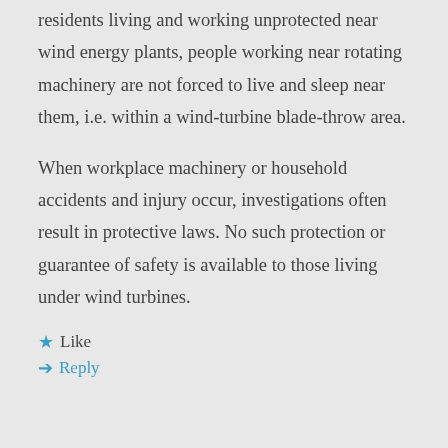residents living and working unprotected near wind energy plants, people working near rotating machinery are not forced to live and sleep near them, i.e. within a wind-turbine blade-throw area.
When workplace machinery or household accidents and injury occur, investigations often result in protective laws. No such protection or guarantee of safety is available to those living under wind turbines.
★ Like
➤ Reply